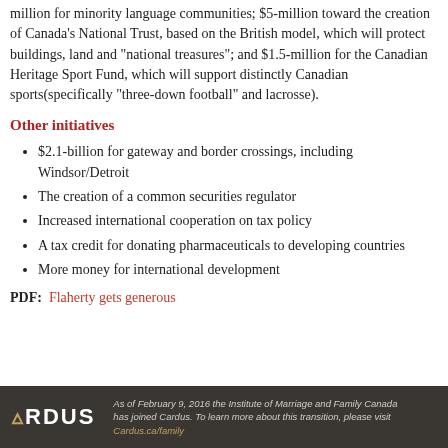million for minority language communities; $5-million toward the creation of Canada's National Trust, based on the British model, which will protect buildings, land and "national treasures"; and $1.5-million for the Canadian Heritage Sport Fund, which will support distinctly Canadian sports(specifically "three-down football" and lacrosse).
Other initiatives
$2.1-billion for gateway and border crossings, including Windsor/Detroit
The creation of a common securities regulator
Increased international cooperation on tax policy
A tax credit for donating pharmaceuticals to developing countries
More money for international development
PDF:  Flaherty gets generous
As of February 9, 2016 the Institute of Marriage and Family Canada has joined Cardus. To learn more about this transition, please visit Cardus.ca/family